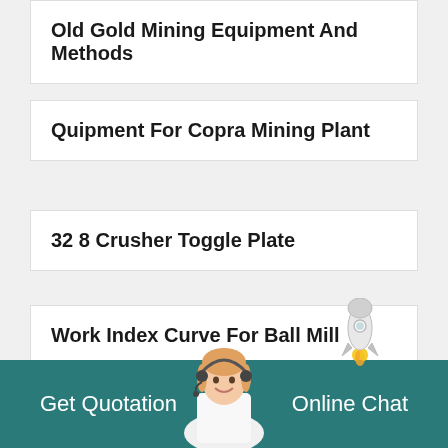Old Gold Mining Equipment And Methods
Quipment For Copra Mining Plant
32 8 Crusher Toggle Plate
Work Index Curve For Ball Mill
Copper Refining Recycling Equipment C...
Get Quotation   Online Chat